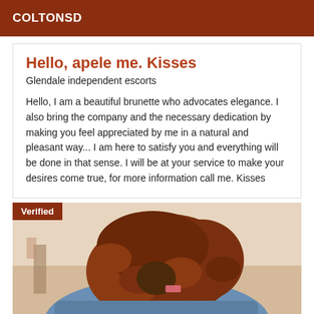COLTONSD
Hello, apele me. Kisses
Glendale independent escorts
Hello, I am a beautiful brunette who advocates elegance. I also bring the company and the necessary dedication by making you feel appreciated by me in a natural and pleasant way... I am here to satisfy you and everything will be done in that sense. I will be at your service to make your desires come true, for more information call me. Kisses
[Figure (photo): Photo of a person with curly reddish-brown hair leaning forward, wearing a blue top. A 'Verified' badge appears in the top-left corner of the image.]